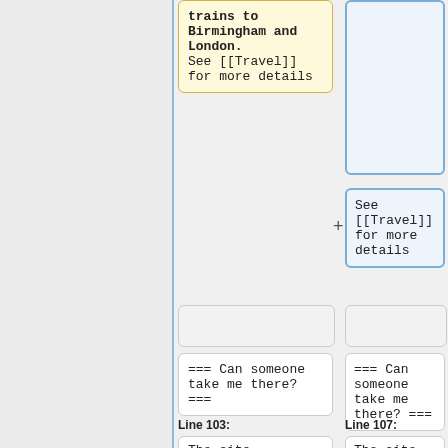trains to Birmingham and London. See [[Travel]] for more details
See [[Travel]] for more details
=== Can someone take me there? ===
=== Can someone take me there? ===
Line 103:
Line 107:
The site
The site